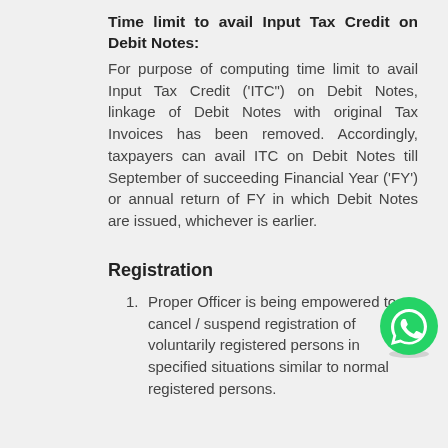Time limit to avail Input Tax Credit on Debit Notes:
For purpose of computing time limit to avail Input Tax Credit ('ITC") on Debit Notes, linkage of Debit Notes with original Tax Invoices has been removed. Accordingly, taxpayers can avail ITC on Debit Notes till September of succeeding Financial Year ('FY') or annual return of FY in which Debit Notes are issued, whichever is earlier.
Registration
Proper Officer is being empowered to cancel / suspend registration of voluntarily registered persons in specified situations similar to normal registered persons.
[Figure (logo): WhatsApp green circular logo with phone handset icon in white]